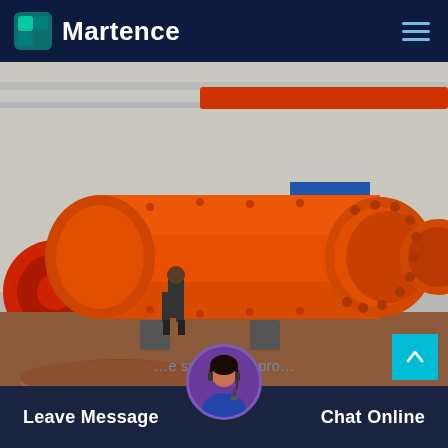Martence
[Figure (photo): Large orange industrial ball mill machine in a factory/warehouse setting. A worker stands next to it for scale. The machine is a large cylindrical orange drum with flanged ends and bolt patterns. Industrial structures and equipment visible in background.]
Leave Message   Chat Online